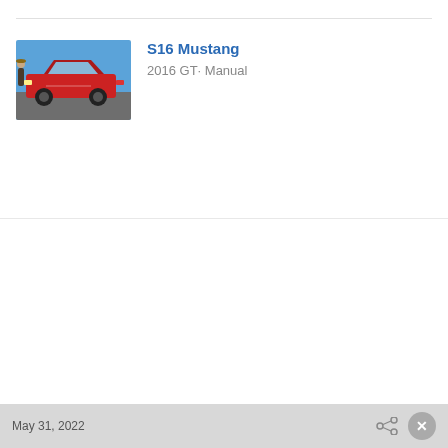[Figure (photo): A red Ford Mustang GT at what appears to be a car show or track event, with people visible in the background against a blue sky.]
S16 Mustang
2016 GT· Manual
May 31, 2022